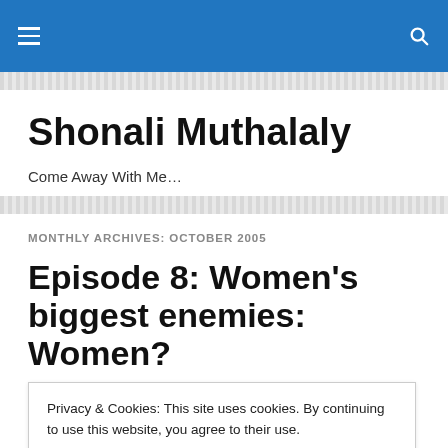Shonali Muthalaly — navigation and search bar
Shonali Muthalaly
Come Away With Me…
MONTHLY ARCHIVES: OCTOBER 2005
Episode 8: Women's biggest enemies: Women?
Privacy & Cookies: This site uses cookies. By continuing to use this website, you agree to their use.
To find out more, including how to control cookies, see here: Cookie Policy
in passionate public display of affection that men wouldn't